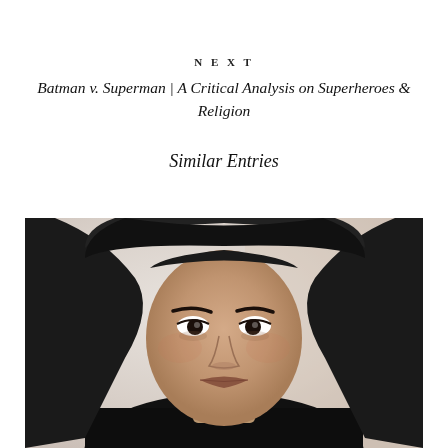NEXT
Batman v. Superman | A Critical Analysis on Superheroes & Religion
Similar Entries
[Figure (photo): Portrait photograph of a young woman wearing a black headscarf and black choker necklace, looking directly at the camera with a neutral expression. The background is light beige/cream on the left side and slightly warmer on the right.]